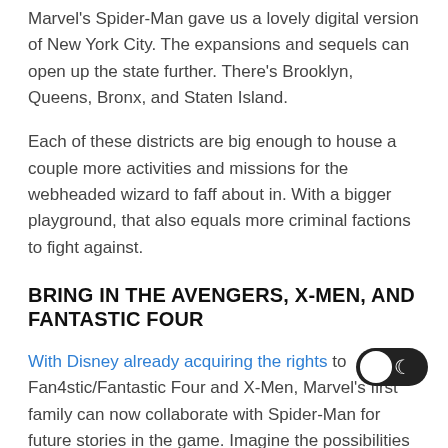Marvel's Spider-Man gave us a lovely digital version of New York City. The expansions and sequels can open up the state further. There's Brooklyn, Queens, Bronx, and Staten Island.
Each of these districts are big enough to house a couple more activities and missions for the webheaded wizard to faff about in. With a bigger playground, that also equals more criminal factions to fight against.
BRING IN THE AVENGERS, X-MEN, AND FANTASTIC FOUR
With Disney already acquiring the rights to Fan4stic/Fantastic Four and X-Men, Marvel's first family can now collaborate with Spider-Man for future stories in the game. Imagine the possibilities similar to Spider-Man Web of Shadows or even the 90s 16-bit Spider-Man games: Wolverine and Spider-Man together again. Johnny Storm and